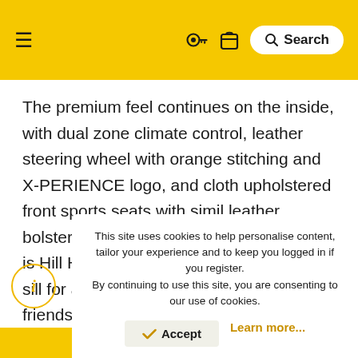[Figure (screenshot): Website navigation bar with hamburger menu icon, key icon, clipboard/bag icon, and a search button on a yellow background.]
The premium feel continues on the inside, with dual zone climate control, leather steering wheel with orange stitching and X-PERIENCE logo, and cloth upholstered front sports seats with simil leather bolsters. Rounding off its practical nature is Hill Hold Control and a chrome loading sill for added protection when four-legged friends scrabble into the boot.
This site uses cookies to help personalise content, tailor your experience and to keep you logged in if you register. By continuing to use this site, you are consenting to our use of cookies.